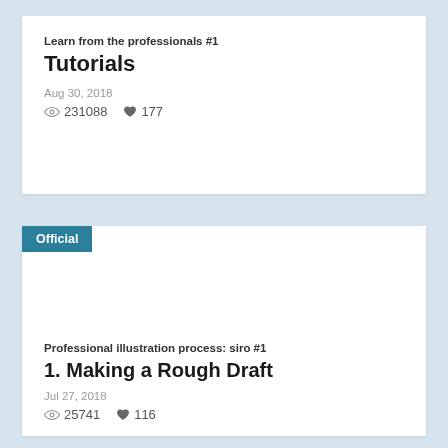Learn from the professionals #1
Tutorials
Aug 30, 2018
👁 231088   ♥ 177
[Figure (illustration): Official badge label on second card with blank image area]
Professional illustration process: siro #1
1. Making a Rough Draft
Jul 27, 2018
👁 25741   ♥ 116